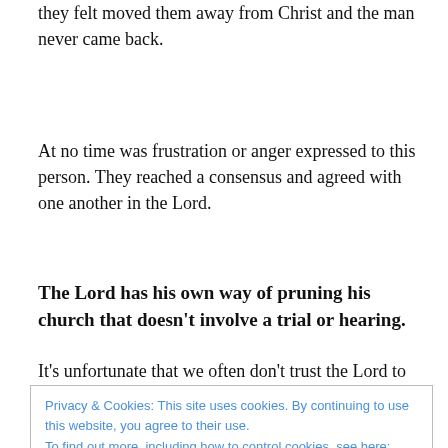they felt moved them away from Christ and the man never came back.
At no time was frustration or anger expressed to this person. They reached a consensus and agreed with one another in the Lord.
The Lord has his own way of pruning his church that doesn't involve a trial or hearing.
It's unfortunate that we often don't trust the Lord to express himself in the Body this way. In organized
Privacy & Cookies: This site uses cookies. By continuing to use this website, you agree to their use.
To find out more, including how to control cookies, see here: Cookie Policy
teachers that need to pastor. The actions of these